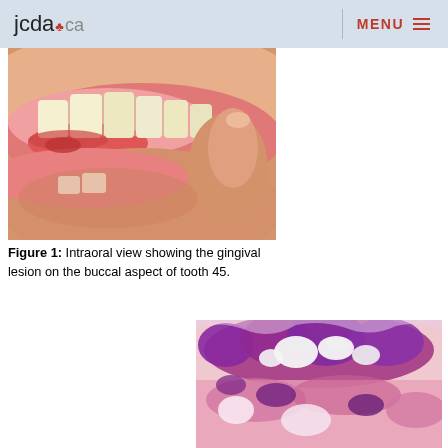jcda.ca   MENU
[Figure (photo): Intraoral clinical photograph showing gingival lesion on the buccal aspect of tooth 45. Close-up view of teeth and gums with pink gingival tissue visible.]
Figure 1: Intraoral view showing the gingival lesion on the buccal aspect of tooth 45.
[Figure (photo): Histological image showing tissue section stained with hematoxylin and eosin. Purple and pink stained tissue with complex folded structures visible at low magnification.]